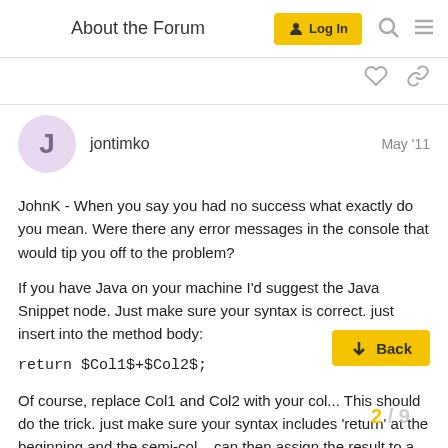About the Forum | Log In
jontimko  May '11
JohnK - When you say you had no success what exactly do you mean. Were there any error messages in the console that would tip you off to the problem?

If you have Java on your machine I'd suggest the Java Snippet node. Just make sure your syntax is correct. just insert into the method body:

return $Col1$+$Col2$;

Of course, replace Col1 and Col2 with your col... This should do the trick. just make sure your syntax includes 'return' at the beginning and the semi-col... can then assign the result to a new colum...